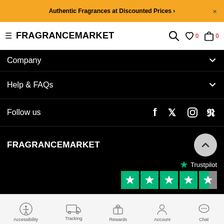Authentic Fragrances at Discounted Prices >
FRAGRANCEMARKET
Company
Help & FAQs
Follow us
FRAGRANCEMARKET
[Figure (logo): Trustpilot logo with 4.5 star rating]
Accessibility  Tracking  Rewards  Account  Chat